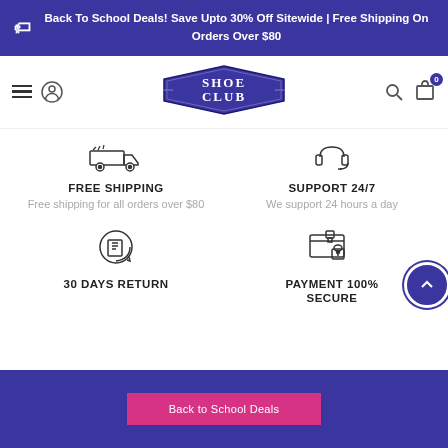Back To School Deals! Save Upto 30% Off Sitewide | Free Shipping On Orders Over $80
[Figure (logo): Shoe Club logo - diamond shaped blue badge with white text]
FREE SHIPPING
Free shipping for all orders over $80
SUPPORT 24/7
We support 24 hours a day
30 DAYS RETURN
PAYMENT 100% SECURE
Back to School Deals